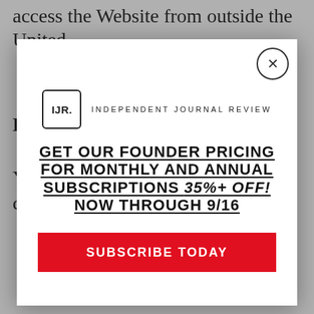access the Website from outside the United
D
Y
c
[Figure (screenshot): Modal popup for Independent Journal Review (IJR) subscription offer. Contains IJR logo, promotional text 'GET OUR FOUNDER PRICING FOR MONTHLY AND ANNUAL SUBSCRIPTIONS 35%+ OFF! NOW THROUGH 9/16', and a red SUBSCRIBE TODAY button. Has an X close button in top right corner.]